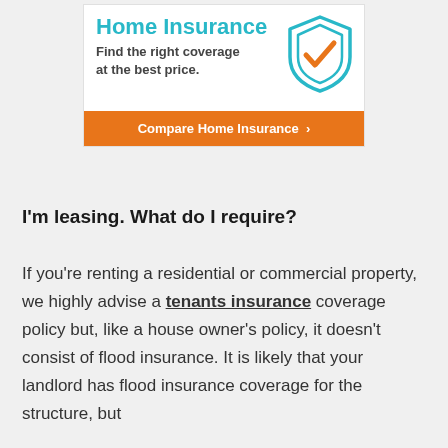[Figure (infographic): Home Insurance advertisement banner with teal title 'Home Insurance', bold text 'Find the right coverage at the best price.', a shield icon with orange checkmark, and an orange call-to-action button 'Compare Home Insurance >']
I'm leasing. What do I require?
If you're renting a residential or commercial property, we highly advise a tenants insurance coverage policy but, like a house owner's policy, it doesn't consist of flood insurance. It is likely that your landlord has flood insurance coverage for the structure, but